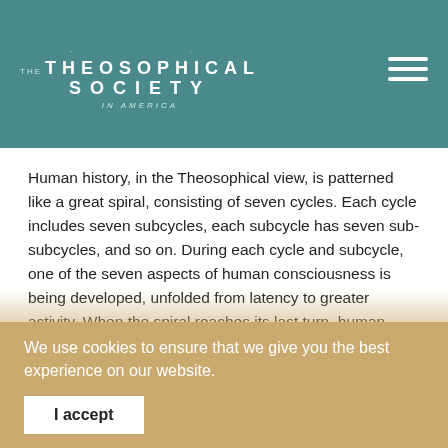THE THEOSOPHICAL SOCIETY in America
Human history, in the Theosophical view, is patterned like a great spiral, consisting of seven cycles. Each cycle includes seven subcycles, each subcycle has seven sub-subcycles, and so on. During each cycle and subcycle, one of the seven aspects of human consciousness is being developed, unfolded from latency to greater activity. When the spiral reaches its last turn, human beings will have developed as completely as is possible in our current world period.
At the present time, we are in our fifth cycle and its fifth
We use cookies to ensure that we give you the best experience on our website.
I accept